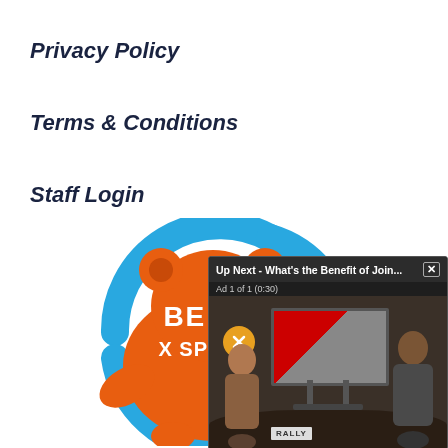Privacy Policy
Terms & Conditions
Staff Login
[Figure (logo): Belly x Sports logo — orange bear mascot silhouette with blue circular ring/arc around it, text BELLY x SPORTS in white on orange]
[Figure (screenshot): Video ad popup overlay: 'Up Next - What's the Benefit of Join...' with close X button, 'Ad 1 of 1 (0:30)' subtext, muted orange button, TV screen showing football player, two TV hosts standing in studio, Rally logo in bottom left]